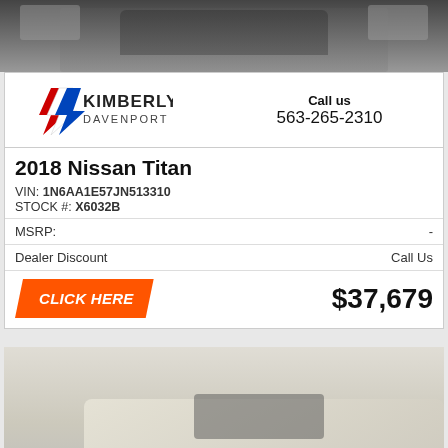[Figure (photo): Top portion of a dark Nissan Titan truck, front grille view]
[Figure (logo): Kimberly Davenport dealership logo with red, white, and blue lightning bolt design]
Call us
563-265-2310
2018 Nissan Titan
VIN: 1N6AA1E57JN513310
STOCK #: X6032B
MSRP:	-
Dealer Discount	Call Us
CLICK HERE
$37,679
[Figure (photo): Bottom portion showing front/side view of a light-colored SUV/truck (appears to be a Nissan Frontier or similar), cream/tan color]
Top